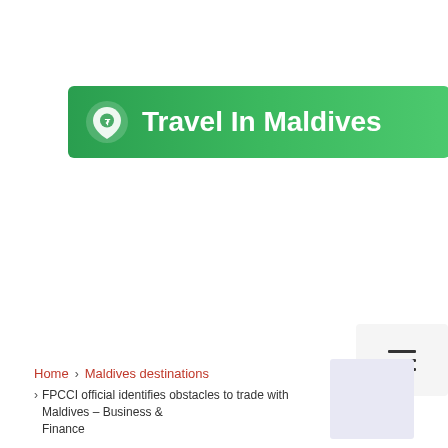Travel In Maldives
[Figure (other): Hamburger menu button icon (three horizontal lines) on a light gray background]
Type your search
Home > Maldives destinations > FPCCI official identifies obstacles to trade with Maldives – Business & Finance